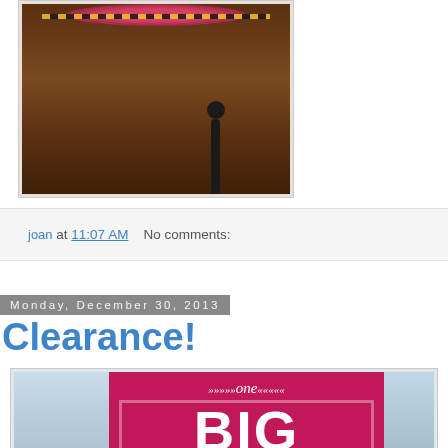[Figure (photo): Photo of a decorative wreath or hat with police/caution tape and a black lamppost on a stone ground]
joan at 11:07 AM    No comments:
Monday, December 30, 2013
Clearance!
[Figure (photo): Photo of a store window display showing a pink sign that reads 'one BIG SALE' with decorative arrows]